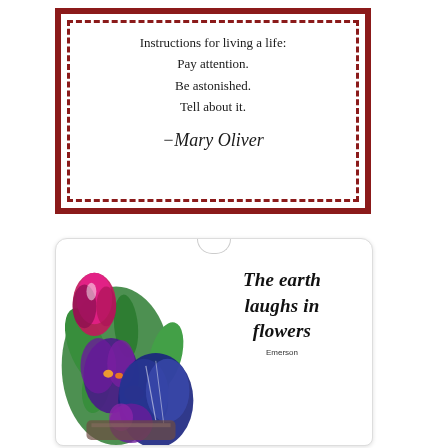[Figure (illustration): A greeting card with a dark red square border and inner dashed border. Inside, centered text reads: 'Instructions for living a life: Pay attention. Be astonished. Tell about it.' with a cursive signature '-Mary Oliver' below.]
[Figure (illustration): A tag-shaped card with a hole at the top. Left side has colorful stained-glass style flowers (pink, purple, blue irises and tulips with green leaves). Right side has bold italic text: 'The earth laughs in flowers' with 'Emerson' in small text below.]